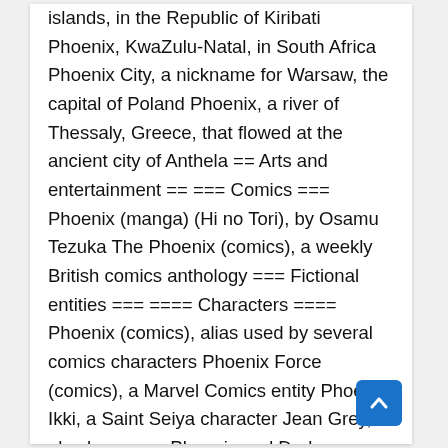islands, in the Republic of Kiribati Phoenix, KwaZulu-Natal, in South Africa Phoenix City, a nickname for Warsaw, the capital of Poland Phoenix, a river of Thessaly, Greece, that flowed at the ancient city of Anthela == Arts and entertainment == === Comics === Phoenix (manga) (Hi no Tori), by Osamu Tezuka The Phoenix (comics), a weekly British comics anthology === Fictional entities === ==== Characters ==== Phoenix (comics), alias used by several comics characters Phoenix Force (comics), a Marvel Comics entity Phoenix Ikki, a Saint Seiya character Jean Grey, also known as Phoenix and Dark Phoenix, an X-Men character Rachel Summers, a Marvel Comics character also known as Phoenix Phoenix (Transformers) Phoenix Raynor, a Shortland Street character Phoenix